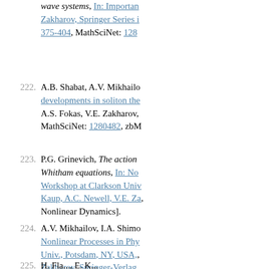(partial) wave systems, In: Important..., Zakharov, Springer Series i..., 375-404, MathSciNet: 128...
222. A.B. Shabat, A.V. Mikhailo... developments in soliton the... A.S. Fokas, V.E. Zakharov,... MathSciNet: 1280482, zbM...
223. P.G. Grinevich, The action... Whitham equations, In: No... Workshop at Clarkson Univ... Kaup, A.C. Newell, V.E. Za... Nonlinear Dynamics].
224. A.V. Mikhailov, I.A. Shimo... Nonlinear Processes in Phy... Univ., Potsdam, NY, USA,... Zakharov, Springer-Verlag,...
225. (partial) H. Fla... E. K...